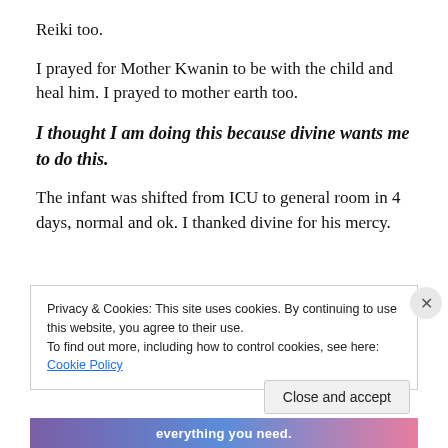Reiki too.
I prayed for Mother Kwanin to be with the child and heal him. I prayed to mother earth too.
I thought I am doing this because divine wants me to do this.
The infant was shifted from ICU to general room in 4 days, normal and ok. I thanked divine for his mercy.
Privacy & Cookies: This site uses cookies. By continuing to use this website, you agree to their use.
To find out more, including how to control cookies, see here: Cookie Policy
Close and accept